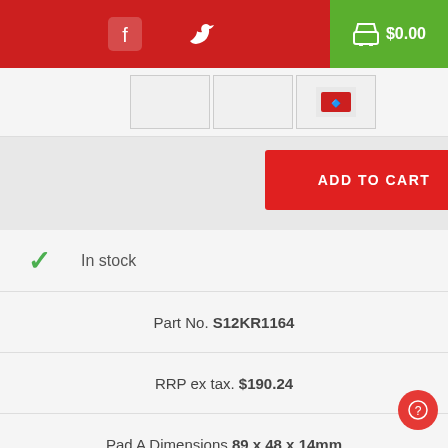[Figure (screenshot): Top navigation bar with red background, Facebook icon, Twitter icon, and green cart button showing $0.00]
[Figure (screenshot): Product thumbnail image strip with three thumbnail images]
ADD TO CART
| ✓ | In stock |
| Part No. S12KR1164 |
| RRP ex tax. $190.24 |
| Pad A Dimensions 89 x 48 x 14mm |
| Disc Type Plain |
| Solid or Vented? S |
| Disc Bolts 4 |
| Disc Diameter 260mm |